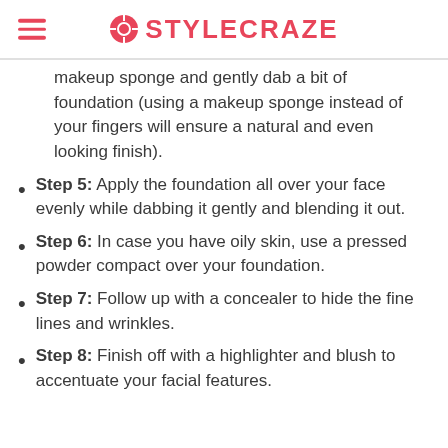STYLECRAZE
makeup sponge and gently dab a bit of foundation (using a makeup sponge instead of your fingers will ensure a natural and even looking finish).
Step 5: Apply the foundation all over your face evenly while dabbing it gently and blending it out.
Step 6: In case you have oily skin, use a pressed powder compact over your foundation.
Step 7: Follow up with a concealer to hide the fine lines and wrinkles.
Step 8: Finish off with a highlighter and blush to accentuate your facial features.